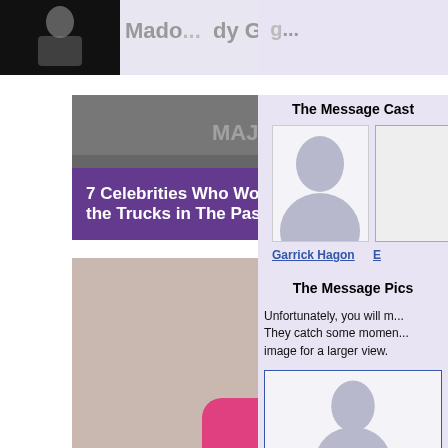[Figure (screenshot): Top banner showing partial photo of Madonna performing, with text 'Madonna' and 'Lady Gaga' partially visible]
[Figure (photo): Article thumbnail: '7 Celebrities Who Worked On the Trucks in The Past' with purple overlay, showing MAJESTYK BRANDS watermark]
7 Celebrities Who Worked On the Trucks in The Past
[Figure (photo): Joan Rivers in pink jacket with hands raised]
Joan Rivers still in coma
The Message Cast
[Figure (photo): Silhouette placeholder photo for cast member Garrick Hagon]
Garrick Hagon
The Message Pics
Unfortunately, you will m... They catch some momen... image for a larger view.
[Figure (photo): Small silhouette placeholder image in blue-bordered box]
[Figure (photo): Large background silhouettes, and a framed white area]
[Figure (photo): Silhouette in small framed white box in bottom-left of left column]